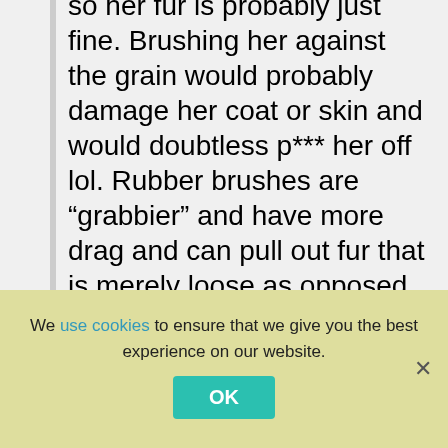so her fur is probably just fine. Brushing her against the grain would probably damage her coat or skin and would doubtless p*** her off lol. Rubber brushes are “grabbier” and have more drag and can pull out fur that is merely loose as opposed to already shed. They are very useful picking up loose fur but be careful not to overuse them as they can indeed strip the undercoat right out and leave thin patches. I did that once and felt like a real but*hol*. I mostly
We use cookies to ensure that we give you the best experience on our website.